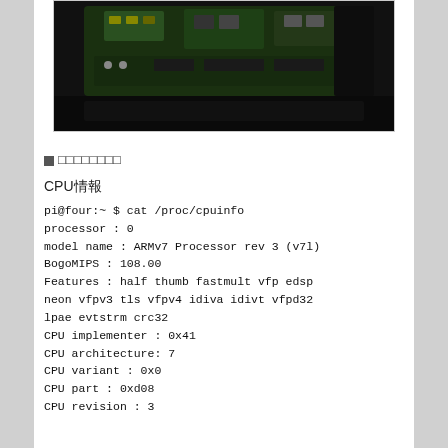[Figure (photo): Photo of a Raspberry Pi circuit board with components visible, dark background]
■□□□□□□□
CPU情報
pi@four:~ $ cat /proc/cpuinfo
processor : 0
model name : ARMv7 Processor rev 3 (v7l)
BogoMIPS : 108.00
Features : half thumb fastmult vfp edsp
neon vfpv3 tls vfpv4 idiva idivt vfpd32
lpae evtstrm crc32
CPU implementer : 0x41
CPU architecture: 7
CPU variant : 0x0
CPU part : 0xd08
CPU revision : 3